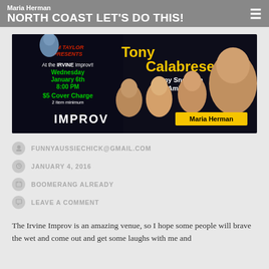Maria Herman
NORTH COAST LET'S DO THIS!
[Figure (photo): Event poster for Jim Taylor Presents Tony Calabrese at the Irvine Improv, Wednesday January 6th, 8:00 PM, $5 Cover Charge, 2 item minimum. Features Amy Snowden, Dale Amler, Maria Herman. Shows photos of comedians.]
FUNNYAUSSIECHICK@GMAIL.COM
JANUARY 4, 2016
BOOMERANG ALREADY
LEAVE A COMMENT
The Irvine Improv is an amazing venue, so I hope some people will brave the wet and come out and get some laughs with me and